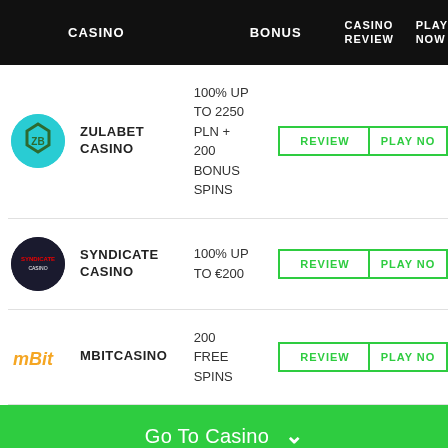| CASINO | BONUS | CASINO REVIEW | PLAY NOW |
| --- | --- | --- | --- |
| ZULABET CASINO | 100% UP TO 2250 PLN + 200 BONUS SPINS | REVIEW | PLAY NO |
| SYNDICATE CASINO | 100% UP TO €200 | REVIEW | PLAY NO |
| MBITCASINO | 200 FREE SPINS | REVIEW | PLAY NO |
Go To Casino